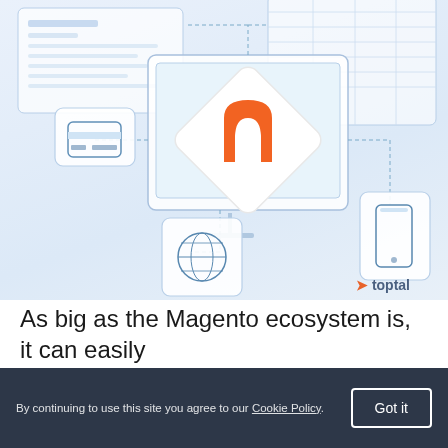[Figure (illustration): Magento ecosystem illustration showing a monitor with the Magento logo (orange hexagonal magnet symbol on a white diamond shape), connected via dotted lines to icons: a credit card icon (top left), a globe/web icon (bottom left), a mobile phone icon (bottom right), and dashboard/chart panels (top right). Toptal logo appears in lower right. Light blue gradient background.]
As big as the Magento ecosystem is, it can easily
confuse newcomers. To help orient you, we'll cover an overview of the many different approaches to leveraging Magento available to budding or online stores and
By continuing to use this site you agree to our Cookie Policy.